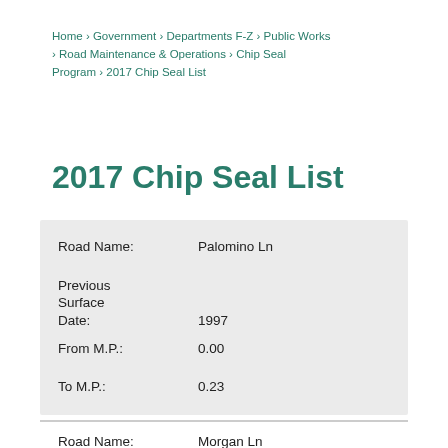Home › Government › Departments F-Z › Public Works › Road Maintenance & Operations › Chip Seal Program › 2017 Chip Seal List
View archive
2017 Chip Seal List
| Field | Value |
| --- | --- |
| Road Name: | Palomino Ln |
| Previous Surface Date: | 1997 |
| From M.P.: | 0.00 |
| To M.P.: | 0.23 |
| Field | Value |
| --- | --- |
| Road Name: | Morgan Ln |
| Previous |  |